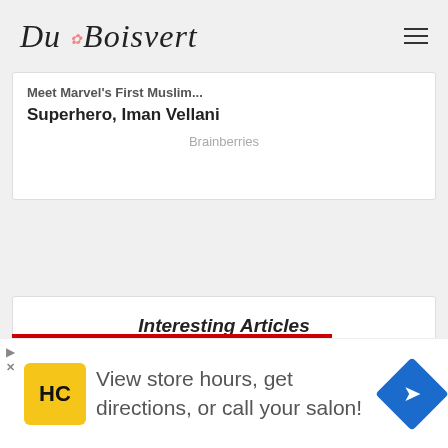Du Boisvert
Meet Marvel's First Muslim Superhero, Iman Vellani
Brainberries
Interesting Articles
Bilingual Children: Benefits Of Bilingual Education
View store hours, get directions, or call your salon!